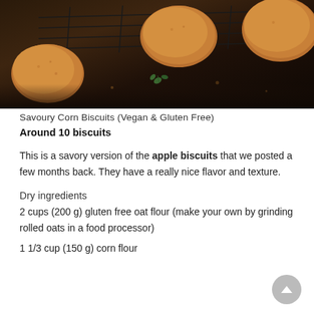[Figure (photo): Savoury corn biscuits on a dark wire cooling rack on a rustic dark wooden surface, with herbs visible, photographed in moody dark style]
Savoury Corn Biscuits (Vegan & Gluten Free)
Around 10 biscuits
This is a savory version of the apple biscuits that we posted a few months back. They have a really nice flavor and texture.
Dry ingredients
2 cups (200 g) gluten free oat flour (make your own by grinding rolled oats in a food processor)
1 1/3 cup (150 g) corn flour